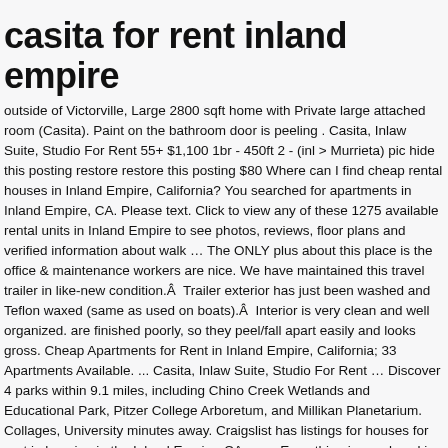casita for rent inland empire
outside of Victorville, Large 2800 sqft home with Private large attached room (Casita). Paint on the bathroom door is peeling . Casita, Inlaw Suite, Studio For Rent 55+ $1,100 1br - 450ft 2 - (inl > Murrieta) pic hide this posting restore restore this posting $80 Where can I find cheap rental houses in Inland Empire, California? You searched for apartments in Inland Empire, CA. Please text. Click to view any of these 1275 available rental units in Inland Empire to see photos, reviews, floor plans and verified information about walk … The ONLY plus about this place is the office & maintenance workers are nice. We have maintained this travel trailer in like-new condition.Â  Trailer exterior has just been washed and Teflon waxed (same as used on boats).Â  Interior is very clean and well organized. are finished poorly, so they peel/fall apart easily and looks gross. Cheap Apartments for Rent in Inland Empire, California; 33 Apartments Available. ... Casita, Inlaw Suite, Studio For Rent … Discover 4 parks within 9.1 miles, including Chino Creek Wetlands and Educational Park, Pitzer College Arboretum, and Millikan Planetarium. Collages, University minutes away. Craigslist has listings for houses for rent in housing in the Inland Empire, CA area. Everything in good working order. We have 461 properties for rent listed as guest